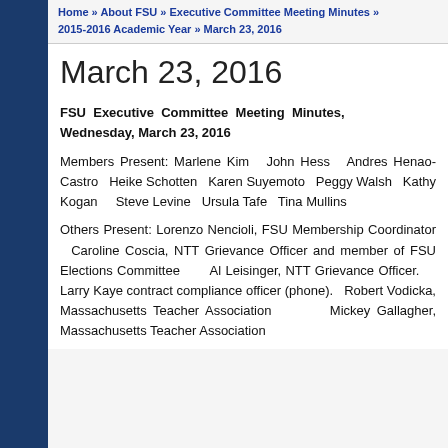Home » About FSU » Executive Committee Meeting Minutes » 2015-2016 Academic Year » March 23, 2016
March 23, 2016
FSU Executive Committee Meeting Minutes, Wednesday, March 23, 2016
Members Present: Marlene Kim  John Hess  Andres Henao-Castro  Heike Schotten  Karen Suyemoto  Peggy Walsh  Kathy Kogan  Steve Levine  Ursula Tafe  Tina Mullins
Others Present: Lorenzo Nencioli, FSU Membership Coordinator  Caroline Coscia, NTT Grievance Officer and member of FSU Elections Committee  Al Leisinger, NTT Grievance Officer.  Larry Kaye contract compliance officer (phone).  Robert Vodicka, Massachusetts Teacher Association  Mickey Gallagher, Massachusetts Teacher Association